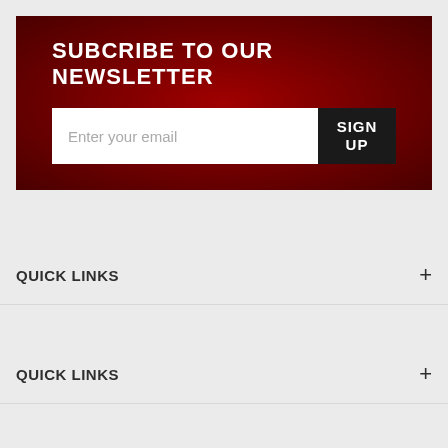SUBCRIBE TO OUR NEWSLETTER
Enter your email
SIGN UP
QUICK LINKS
QUICK LINKS
CONTACT US